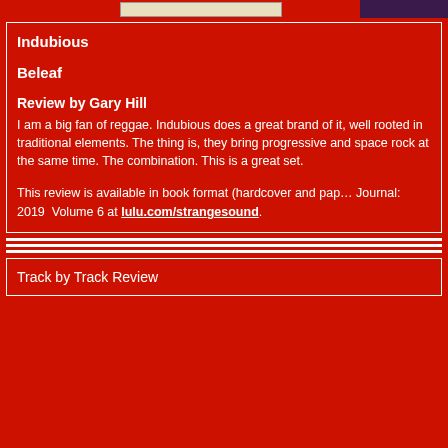Indubious
Beleaf
Review by Gary Hill
I am a big fan of reggae. Indubious does a great brand of it, well rooted in traditional elements. The thing is, they bring progressive and space rock at the same time. The combination. This is a great set.
This review is available in book format (hardcover and paperback) in the Journal: 2019 Volume 6 at lulu.com/strangesound.
Track by Track Review